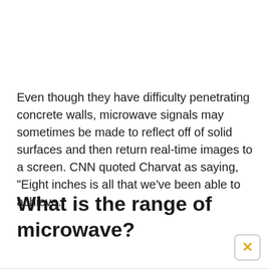Even though they have difficulty penetrating concrete walls, microwave signals may sometimes be made to reflect off of solid surfaces and then return real-time images to a screen. CNN quoted Charvat as saying, "Eight inches is all that we've been able to achieve."
What is the range of microwave?